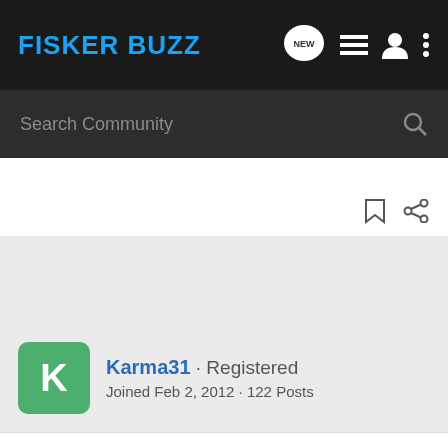FISKER BUZZ
Search Community
Karma31 · Registered
Joined Feb 2, 2012 · 122 Posts
#5 · Mar 7, 2012